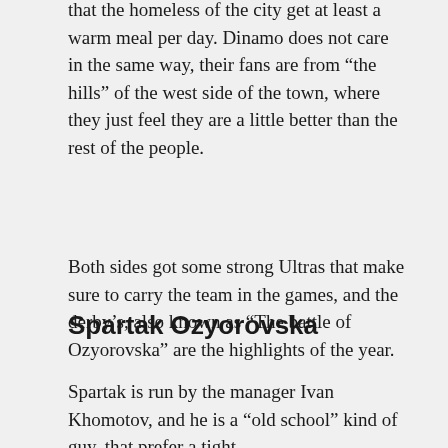that the homeless of the city get at least a warm meal per day. Dinamo does not care in the same way, their fans are from “the hills” of the west side of the town, where they just feel they are a little better than the rest of the people.
Both sides got some strong Ultras that make sure to carry the team in the games, and the derby’s, also known as “The battle of Ozyorovska” are the highlights of the year.
Spartak Ozyorovska
Spartak is run by the manager Ivan Khomotov, and he is a “old school” kind of guy, that prefer a tight